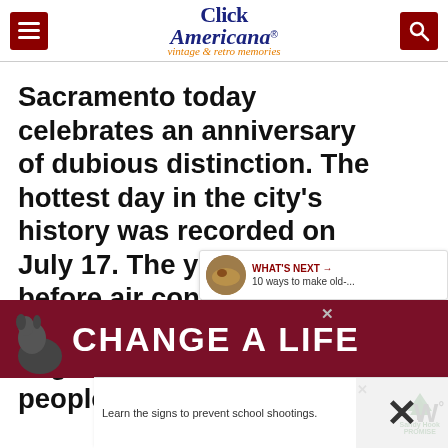Click Americana® vintage & retro memories
Sacramento today celebrates an anniversary of dubious distinction. The hottest day in the city's history was recorded on July 17. The year was 1925, before air conditioning. The temperature was 114 degrees. How did the people stand it?
[Figure (screenshot): WHAT'S NEXT → 10 ways to make old-... widget with food thumbnail]
[Figure (screenshot): CHANGE A LIFE advertisement banner with dog image and X close button]
[Figure (screenshot): Learn the signs to prevent school shootings — Sandy Hook Promise ad with X close button and W° logo]